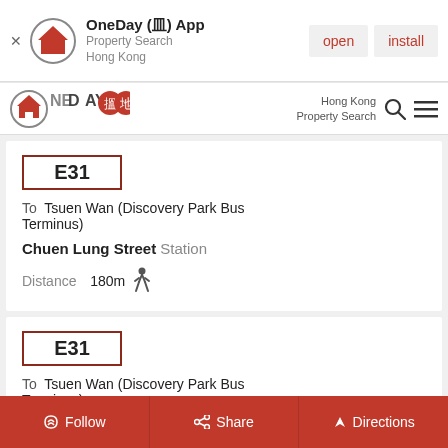OneDay (皿) App | Property Search Hong Kong | open | install
OneDay 搵地 | Hong Kong Property Search
E31
To Tsuen Wan (Discovery Park Bus Terminus)
Chuen Lung Street Station
Distance 180m
E31
To Tsuen Wan (Discovery Park Bus Terminus)
Chuen Lung Street Station
Follow | Share | Directions